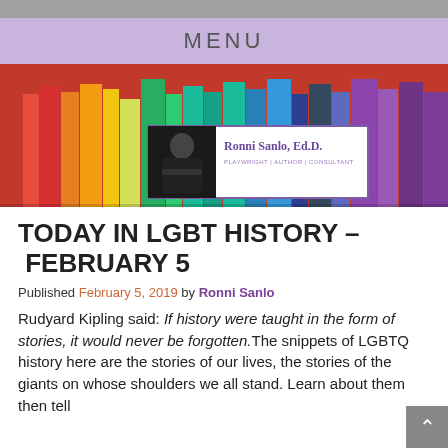MENU
[Figure (photo): Header image showing rainbow-colored books arranged on a shelf, with a logo overlay for Ronni Sanlo, Ed.D. – Playwright | Author | Consultant]
TODAY IN LGBT HISTORY – FEBRUARY 5
Published February 5, 2019 by Ronni Sanlo
Rudyard Kipling said: If history were taught in the form of stories, it would never be forgotten.The snippets of LGBTQ history here are the stories of our lives, the stories of the giants on whose shoulders we all stand. Learn about them then tell